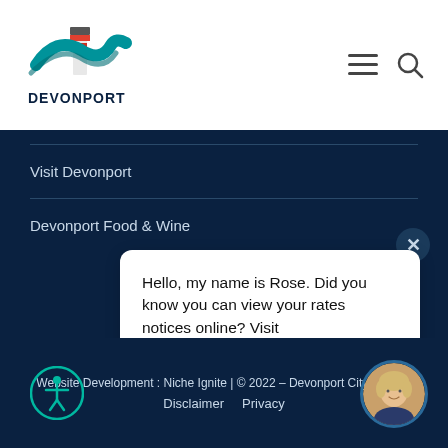[Figure (logo): Devonport City Council logo with lighthouse and teal/red accents]
[Figure (illustration): Hamburger menu icon and search magnifier icon in header]
Visit Devonport
Devonport Food & Wine
Hello, my name is Rose. Did you know you can view your rates notices online? Visit devonport.tas.gov.au/erates.
Website Development : Niche Ignite | © 2022 – Devonport City Council
Disclaimer   Privacy
[Figure (illustration): Accessibility person in circle icon]
[Figure (photo): Rose avatar - woman with blonde hair, chatbot representative]